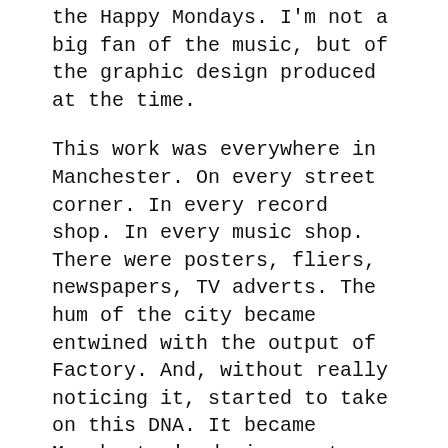the Happy Mondays. I'm not a big fan of the music, but of the graphic design produced at the time.
This work was everywhere in Manchester. On every street corner. In every record shop. In every music shop. There were posters, fliers, newspapers, TV adverts. The hum of the city became entwined with the output of Factory. And, without really noticing it, started to take on this DNA. It became Manchester's design system. It's visual life-blood.
Imposing order
The challenge with any design system is they normally don't work, don't get adopted, don't grow or get used if they are imposed...